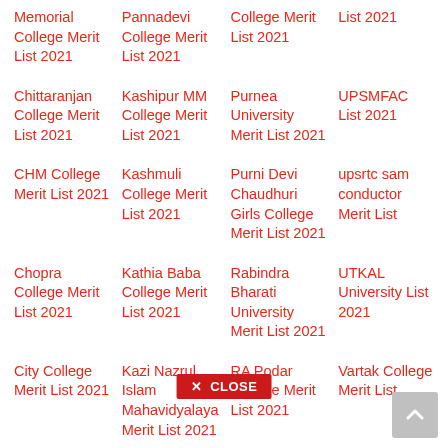Memorial College Merit List 2021
Pannadevi College Merit List 2021
College Merit List 2021
List 2021
Chittaranjan College Merit List 2021
Kashipur MM College Merit List 2021
Purnea University Merit List 2021
UPSMFAC List 2021
CHM College Merit List 2021
Kashmuli College Merit List 2021
Purni Devi Chaudhuri Girls College Merit List 2021
upsrtc sam conductor Merit List
Chopra College Merit List 2021
Kathia Baba College Merit List 2021
Rabindra Bharati University Merit List 2021
UTKAL University List 2021
City College Merit List 2021
Kazi Nazrul Islam Mahavidyalaya Merit List 2021
RA Podar College Merit List 2021
Vartak College Merit List
CMC Vellore
KC College Merit
Rabindra
Uttarakha